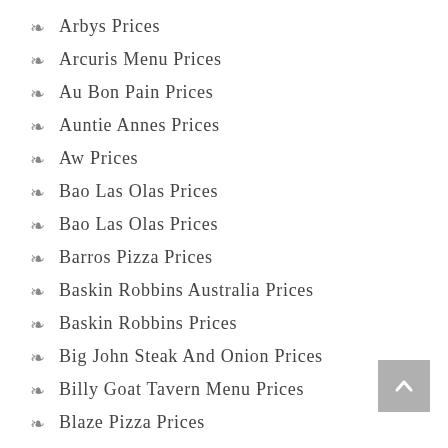Arbys Prices
Arcuris Menu Prices
Au Bon Pain Prices
Auntie Annes Prices
Aw Prices
Bao Las Olas Prices
Bao Las Olas Prices
Barros Pizza Prices
Baskin Robbins Australia Prices
Baskin Robbins Prices
Big John Steak And Onion Prices
Billy Goat Tavern Menu Prices
Blaze Pizza Prices
Bob Evans Farmhouse Prices